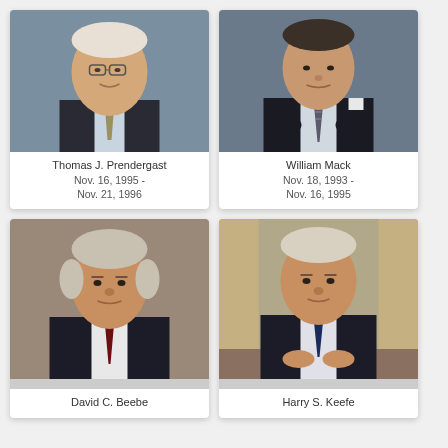[Figure (photo): Portrait photo of Thomas J. Prendergast, older gentleman in suit with light blue tie and glasses]
Thomas J. Prendergast
Nov. 16, 1995 -
Nov. 21, 1996
[Figure (photo): Portrait photo of William Mack, man in dark suit with patterned tie, arms crossed]
William Mack
Nov. 18, 1993 -
Nov. 16, 1995
[Figure (photo): Portrait photo of David C. Beebe, older man in dark suit with dark red tie]
David C. Beebe
[Figure (photo): Portrait photo of Harry S. Keefe, man in dark suit with blue tie, seated, hands folded]
Harry S. Keefe